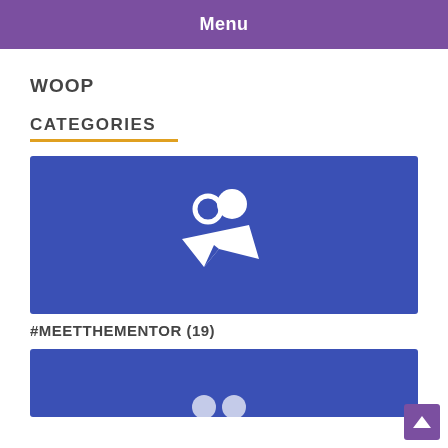Menu
WOOP
CATEGORIES
[Figure (illustration): Blue rectangle card with white mentor/people icon (two figures above an arrow/paper plane shape)]
#MEETTHEMENTOR (19)
[Figure (illustration): Blue rectangle card partially visible at bottom of page, with social media icons visible at bottom edge]